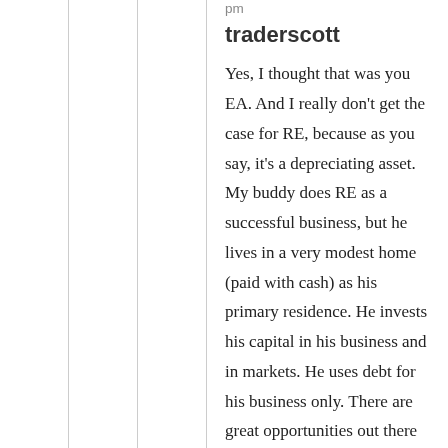pm
traderscott
Yes, I thought that was you EA. And I really don’t get the case for RE, because as you say, it’s a depreciating asset. My buddy does RE as a successful business, but he lives in a very modest home (paid with cash) as his primary residence. He invests his capital in his business and in markets. He uses debt for his business only. There are great opportunities out there in commodities, emerging markets, etc. The great opportunity is not in a primary residence, at least